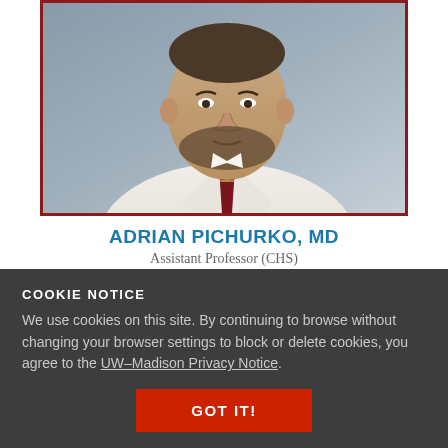[Figure (photo): Headshot photo of Dr. Adrian Pichurko, MD, wearing a white lab coat and dark red striped tie, with a gray blurred background. The photo has a dark red/maroon border.]
ADRIAN PICHURKO, MD
Assistant Professor (CHS)
Associate Vice Chair of Quality and Safety
Special Interest: Neuroanesthesia
COOKIE NOTICE
We use cookies on this site. By continuing to browse without changing your browser settings to block or delete cookies, you agree to the UW–Madison Privacy Notice.
GOT IT!